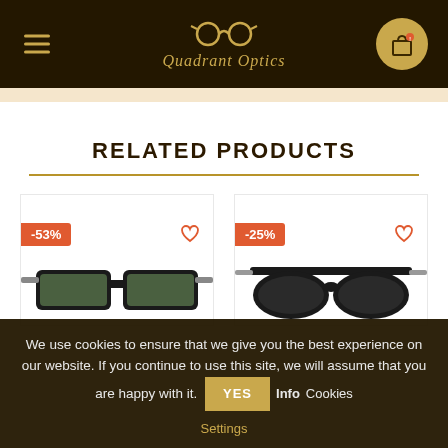Quadrant Optics
RELATED PRODUCTS
[Figure (photo): Product card with sunglasses showing -53% discount badge and heart icon]
[Figure (photo): Product card with sunglasses showing -25% discount badge and heart icon]
We use cookies to ensure that we give you the best experience on our website. If you continue to use this site, we will assume that you are happy with it. YES Info Cookies Settings